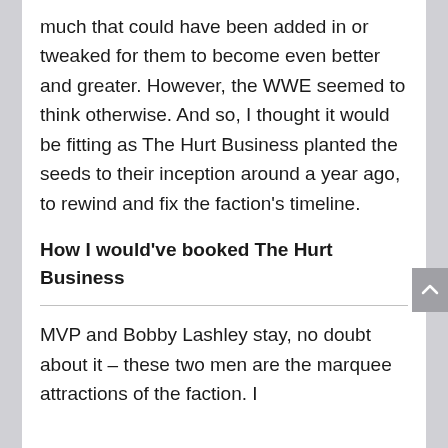much that could have been added in or tweaked for them to become even better and greater. However, the WWE seemed to think otherwise. And so, I thought it would be fitting as The Hurt Business planted the seeds to their inception around a year ago, to rewind and fix the faction's timeline.
How I would've booked The Hurt Business
MVP and Bobby Lashley stay, no doubt about it – these two men are the marquee attractions of the faction. I